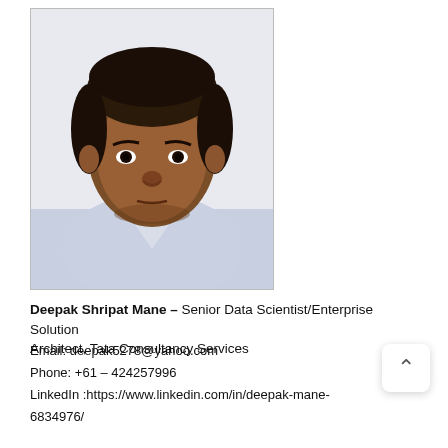[Figure (photo): Headshot/passport-style photo of Deepak Shripat Mane, a man wearing a light blue collared shirt, photographed against a white background.]
Deepak Shripat Mane – Senior Data Scientist/Enterprise Solution Architect, Tata Consultancy Services
Email: deepak5278@yahoo.com
Phone: +61 – 424257996
LinkedIn :https://www.linkedin.com/in/deepak-mane-6834976/